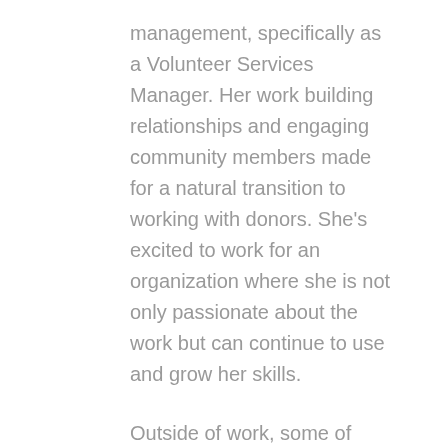management, specifically as a Volunteer Services Manager. Her work building relationships and engaging community members made for a natural transition to working with donors. She's excited to work for an organization where she is not only passionate about the work but can continue to use and grow her skills.
Outside of work, some of Naomi's favorite things to do are: traveling, camping with friends, and spending time with her partner and dogs. Her dogs' names are Hagrid and Mushy and they are Shar-Pei/ Pitbull mixes.